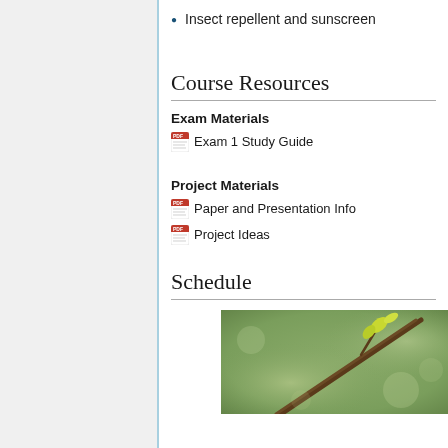Insect repellent and sunscreen
Course Resources
Exam Materials
Exam 1 Study Guide
Project Materials
Paper and Presentation Info
Project Ideas
Schedule
[Figure (photo): Close-up photograph of a branch with yellow-green leaves against a blurred green background]